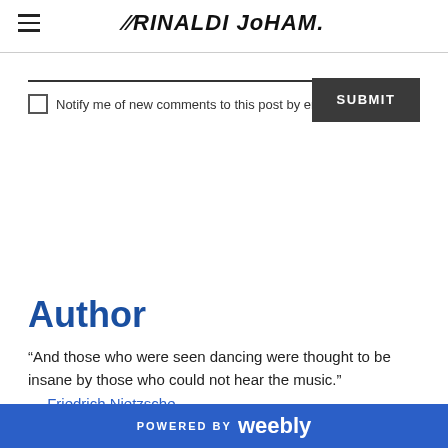RINALDI JOHÄM.
[Figure (screenshot): Text input field (underline style) with a checkbox labeled 'Notify me of new comments to this post by email' and a dark SUBMIT button]
Author
“And those who were seen dancing were thought to be insane by those who could not hear the music.”
— Friedrich Nietzsche
POWERED BY weebly